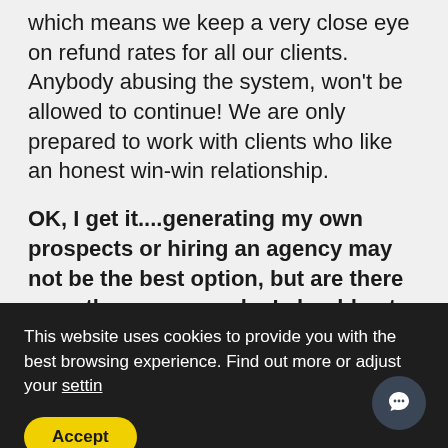which means we keep a very close eye on refund rates for all our clients. Anybody abusing the system, won't be allowed to continue! We are only prepared to work with clients who like an honest win-win relationship.
OK, I get it....generating my own prospects or hiring an agency may not be the best option, but are there any other reasons why I should get Insurance Marketing Automation?
This website uses cookies to provide you with the best browsing experience. Find out more or adjust your settin